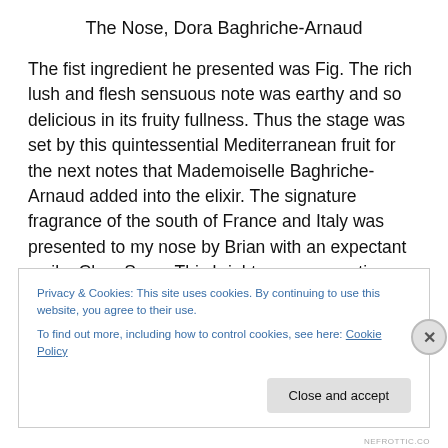The Nose, Dora Baghriche-Arnaud
The fist ingredient he presented was Fig. The rich lush and flesh sensuous note was earthy and so delicious in its fruity fullness. Thus the stage was set by this quintessential Mediterranean fruit for the next notes that Mademoiselle Baghriche-Arnaud added into the elixir. The signature fragrance of the south of France and Italy was presented to my nose by Brian with an expectant smile, Clary Sage. This bright warm aromatic fragrance was
Privacy & Cookies: This site uses cookies. By continuing to use this website, you agree to their use.
To find out more, including how to control cookies, see here: Cookie Policy
Close and accept